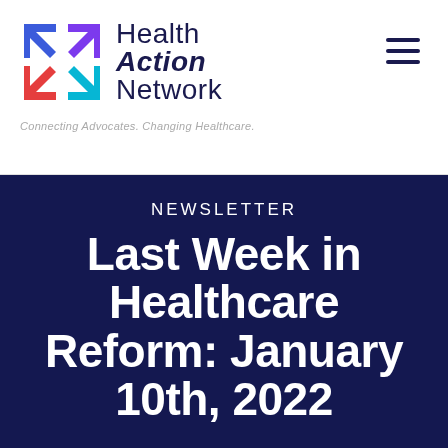[Figure (logo): Health Action Network logo with four arrow icons (blue, purple, red, cyan) and text 'Health Action Network' with tagline 'Connecting Advocates. Changing Healthcare.']
Connecting Advocates. Changing Healthcare.
NEWSLETTER
Last Week in Healthcare Reform: January 10th, 2022